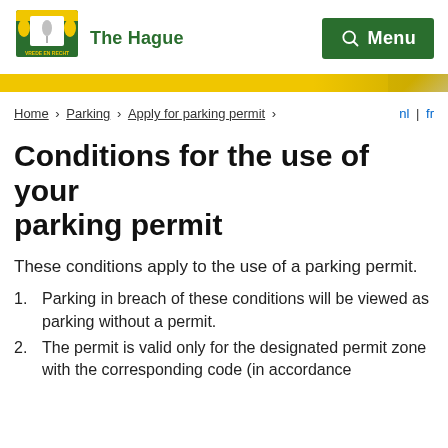[Figure (logo): The Hague city coat of arms logo with two lions and a stork, with text 'VREDE EN RECHT']
The Hague  Menu
Home › Parking › Apply for parking permit ›
nl | fr
Conditions for the use of your parking permit
These conditions apply to the use of a parking permit.
Parking in breach of these conditions will be viewed as parking without a permit.
The permit is valid only for the designated permit zone with the corresponding code (in accordance